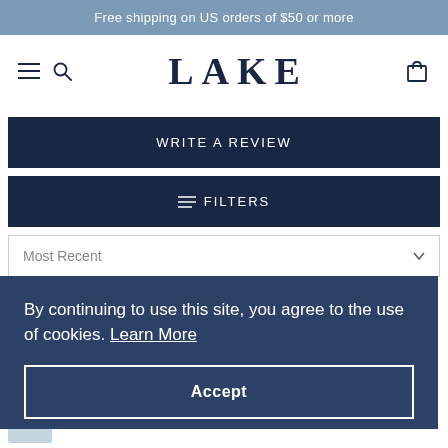Free shipping on US orders of $50 or more
[Figure (logo): LAKE brand logo with hamburger menu, search icon, and cart icon in navigation bar]
WRITE A REVIEW
FILTERS
Most Recent
By continuing to use this site, you agree to the use of cookies. Learn More
Accept
Emily D.
Verified Buyer
Reviewing